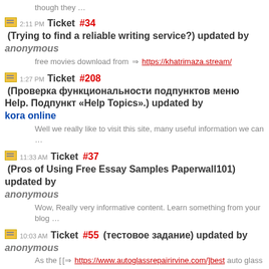though they …
2:11 PM Ticket #34 (Trying to find a reliable writing service?) updated by anonymous
free movies download from ⇒ https://khatrimaza.stream/
1:27 PM Ticket #208 (Проверка функциональности подпунктов меню Help. Подпункт «Help Topics».) updated by kora online
Well we really like to visit this site, many useful information we can …
11:33 AM Ticket #37 (Pros of Using Free Essay Samples Paperwall101) updated by anonymous
Wow, Really very informative content. Learn something from your blog …
10:03 AM Ticket #55 (тестовое задание) updated by anonymous
As the [[⇒ https://www.autoglassrepairirvine.com/]best auto glass repair …
10:01 AM Ticket #55 (тестовое задание) updated by anonymous